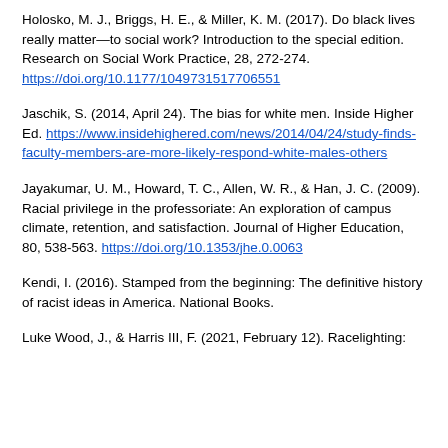Holosko, M. J., Briggs, H. E., & Miller, K. M. (2017). Do black lives really matter—to social work? Introduction to the special edition. Research on Social Work Practice, 28, 272-274. https://doi.org/10.1177/1049731517706551
Jaschik, S. (2014, April 24). The bias for white men. Inside Higher Ed. https://www.insidehighered.com/news/2014/04/24/study-finds-faculty-members-are-more-likely-respond-white-males-others
Jayakumar, U. M., Howard, T. C., Allen, W. R., & Han, J. C. (2009). Racial privilege in the professoriate: An exploration of campus climate, retention, and satisfaction. Journal of Higher Education, 80, 538-563. https://doi.org/10.1353/jhe.0.0063
Kendi, I. (2016). Stamped from the beginning: The definitive history of racist ideas in America. National Books.
Luke Wood, J., & Harris III, F. (2021, February 12). Racelighting: